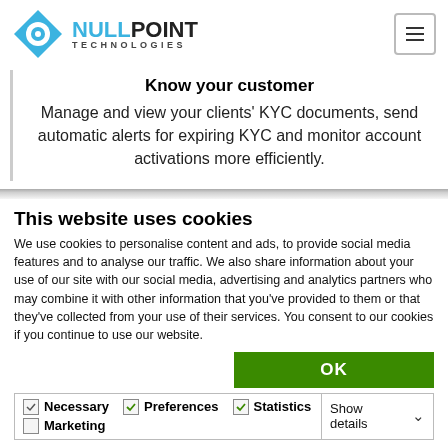[Figure (logo): NullPoint Technologies logo with blue eye/diamond icon and company name]
Know your customer
Manage and view your clients' KYC documents, send automatic alerts for expiring KYC and monitor account activations more efficiently.
This website uses cookies
We use cookies to personalise content and ads, to provide social media features and to analyse our traffic. We also share information about your use of our site with our social media, advertising and analytics partners who may combine it with other information that you've provided to them or that they've collected from your use of their services. You consent to our cookies if you continue to use our website.